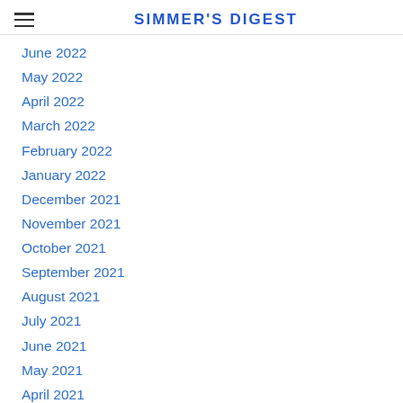SIMMER'S DIGEST
June 2022
May 2022
April 2022
March 2022
February 2022
January 2022
December 2021
November 2021
October 2021
September 2021
August 2021
July 2021
June 2021
May 2021
April 2021
March 2021
February 2021
January 2021